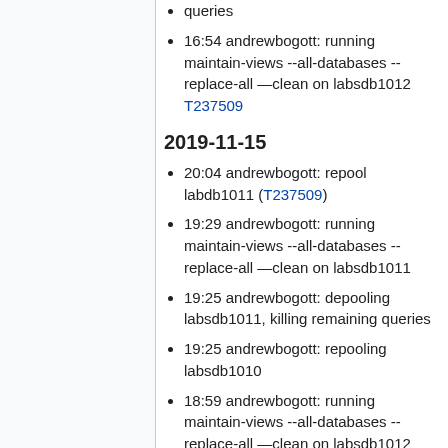queries
16:54 andrewbogott: running maintain-views --all-databases --replace-all —clean on labsdb1012 T237509
2019-11-15
20:04 andrewbogott: repool labdb1011 (T237509)
19:29 andrewbogott: running maintain-views --all-databases --replace-all —clean on labsdb1011
19:25 andrewbogott: depooling labsdb1011, killing remaining queries
19:25 andrewbogott: repooling labsdb1010
18:59 andrewbogott: running maintain-views --all-databases --replace-all —clean on labsdb1012
18:57 andrewbogott: running